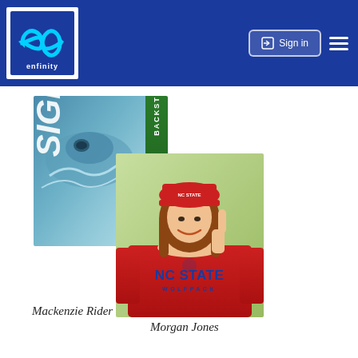[Figure (logo): Enfinity logo — stylized infinity/arrows symbol in blue with 'enfinity' text below]
[Figure (photo): Sign-in button with icon in white on dark blue header]
[Figure (photo): Swimmer doing backstroke with SIGNINGS text overlay and green banner]
[Figure (photo): Young woman wearing red NC STATE WOLFPACK sweatshirt and red NC State cap, making hand gesture, smiling]
Mackenzie Rider
Morgan Jones